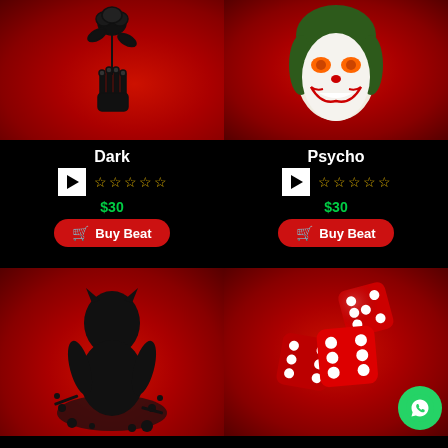[Figure (illustration): Dark beat product card — skeleton hand holding a rose on red smoky background]
Dark
[Figure (illustration): Five empty gold star rating for Dark beat]
$30
Buy Beat
[Figure (illustration): Psycho beat product card — Joker face with orange eyes on red smoky background]
Psycho
[Figure (illustration): Five empty gold star rating for Psycho beat]
$30
Buy Beat
[Figure (illustration): Black Panther silhouette in black splash on red smoky background]
[Figure (illustration): Three red glossy dice on red smoky background with WhatsApp icon overlay]